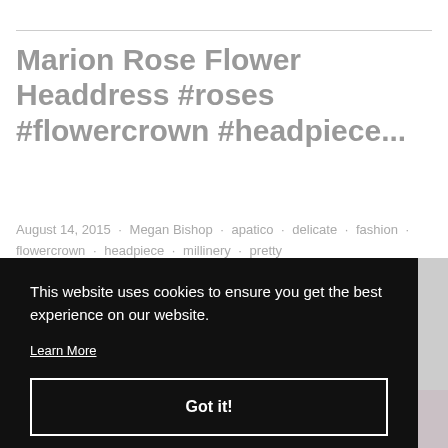Marion Rose Flower Headdress #roses #flowercrown #headpiece...
August 14, 2015 · Megan Bishop · apatico · delicate · fashion · flowercrown · headpiece · millinery · pretty
This website uses cookies to ensure you get the best experience on our website. Learn More
Got it!
[Figure (photo): Partial view of a photo showing pink roses, likely a flower crown or headdress worn by a person, cropped at bottom of page]